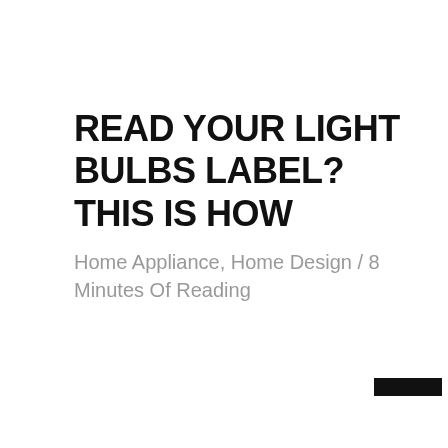READ YOUR LIGHT BULBS LABEL? THIS IS HOW
Home Appliance, Home Design / 8 Minutes Of Reading